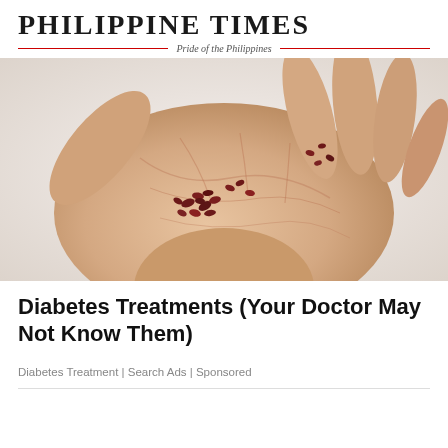Philippine Times — Pride of the Philippines
[Figure (photo): A close-up photograph of an elderly person's open palm holding several small dark red berry-like seeds against a light background.]
Diabetes Treatments (Your Doctor May Not Know Them)
Diabetes Treatment | Search Ads | Sponsored